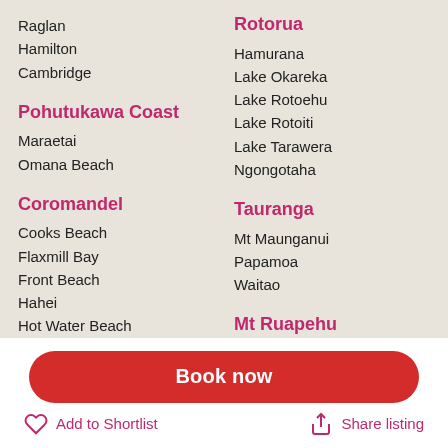Raglan
Hamilton
Cambridge
Pohutukawa Coast
Maraetai
Omana Beach
Coromandel
Cooks Beach
Flaxmill Bay
Front Beach
Hahei
Hot Water Beach
Kuaotunu
Rotorua
Hamurana
Lake Okareka
Lake Rotoehu
Lake Rotoiti
Lake Tarawera
Ngongotaha
Tauranga
Mt Maunganui
Papamoa
Waitao
Mt Ruapehu
National Park
Book now
Add to Shortlist
Share listing